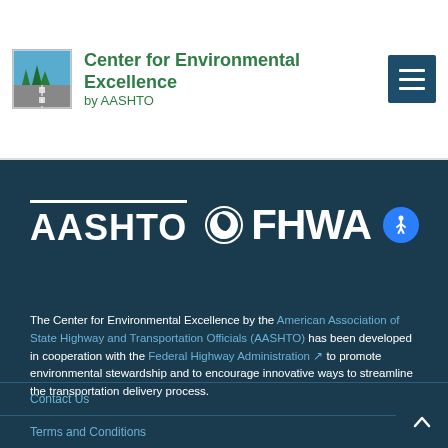[Figure (logo): Center for Environmental Excellence by AASHTO logo with tree/road graphic and green text header with hamburger menu button]
[Figure (logo): AASHTO and FHWA logos side by side on dark navy background]
The Center for Environmental Excellence by the American Association of State Highway and Transportation Officials (AASHTO) has been developed in cooperation with the Federal Highway Administration to promote environmental stewardship and to encourage innovative ways to streamline the transportation delivery process.
Contact Us
Terms and Conditions